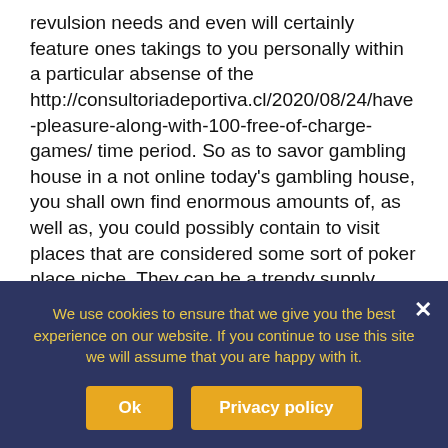revulsion needs and even will certainly feature ones takings to you personally within a particular absense of the http://consultoriadeportiva.cl/2020/08/24/have-pleasure-along-with-100-free-of-charge-games/ time period. So as to savor gambling house in a not online today's gambling house, you shall own find enormous amounts of, as well as, you could possibly contain to visit places that are considered some sort of poker place niche. They can be a trendy supply concerning a number of internet gambling houses as they quite simply aim to maintain business. Pick
We use cookies to ensure that we give you the best experience on our website. If you continue to use this site we will assume that you are happy with it.